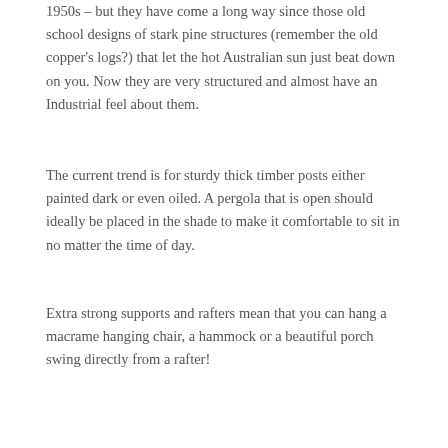1950s – but they have come a long way since those old school designs of stark pine structures (remember the old copper's logs?) that let the hot Australian sun just beat down on you. Now they are very structured and almost have an Industrial feel about them.
The current trend is for sturdy thick timber posts either painted dark or even oiled. A pergola that is open should ideally be placed in the shade to make it comfortable to sit in no matter the time of day.
Extra strong supports and rafters mean that you can hang a macrame hanging chair, a hammock or a beautiful porch swing directly from a rafter!